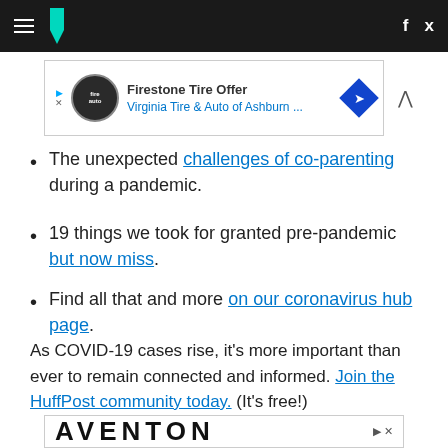HuffPost navigation header with hamburger menu, logo, Facebook and Twitter icons
[Figure (other): Firestone Tire Offer advertisement — Virginia Tire & Auto of Ashburn ...]
The unexpected challenges of co-parenting during a pandemic.
19 things we took for granted pre-pandemic but now miss.
Find all that and more on our coronavirus hub page.
As COVID-19 cases rise, it's more important than ever to remain connected and informed. Join the HuffPost community today. (It's free!)
[Figure (other): AVENTON advertisement banner]